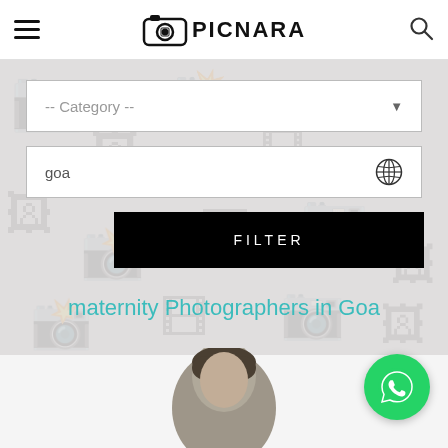PICNARA
[Figure (screenshot): Category dropdown filter box with '-- Category --' placeholder text and dropdown arrow]
[Figure (screenshot): Location input box with 'goa' text and globe icon]
[Figure (screenshot): Black FILTER button]
maternity Photographers in Goa
[Figure (photo): Portrait photo of a male photographer, head and shoulders visible at bottom of page]
[Figure (logo): WhatsApp green circular button with phone icon]